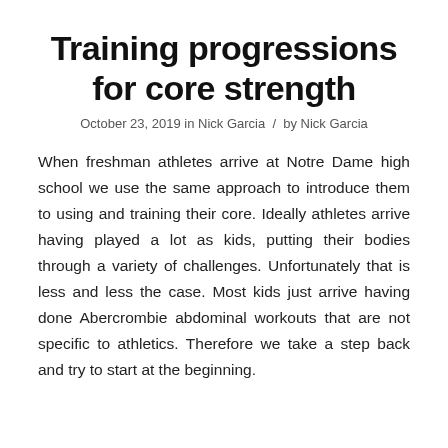Training progressions for core strength
October 23, 2019 in Nick Garcia / by Nick Garcia
When freshman athletes arrive at Notre Dame high school we use the same approach to introduce them to using and training their core. Ideally athletes arrive having played a lot as kids, putting their bodies through a variety of challenges. Unfortunately that is less and less the case. Most kids just arrive having done Abercrombie abdominal workouts that are not specific to athletics. Therefore we take a step back and try to start at the beginning.